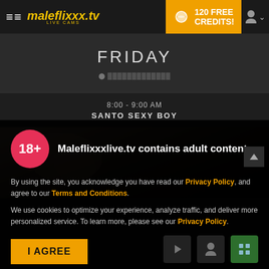maleflixxx.tv LIVE CAMS | 120 FREE CREDITS!
FRIDAY
8:00 - 9:00 AM
SANTO SEXY BOY
[Figure (photo): Close-up blurred photo of a person's face/head in a dimly lit environment]
Maleflixxxlive.tv contains adult content
By using the site, you acknowledge you have read our Privacy Policy, and agree to our Terms and Conditions.
We use cookies to optimize your experience, analyze traffic, and deliver more personalized service. To learn more, please see our Privacy Policy.
I AGREE